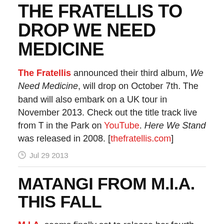THE FRATELLIS TO DROP WE NEED MEDICINE
The Fratellis announced their third album, We Need Medicine, will drop on October 7th. The band will also embark on a UK tour in November 2013. Check out the title track live from T in the Park on YouTube. Here We Stand was released in 2008. [thefratellis.com]
Jul 29 2013
MATANGI FROM M.I.A. THIS FALL
M.I.A. seems finally set to release her fourth